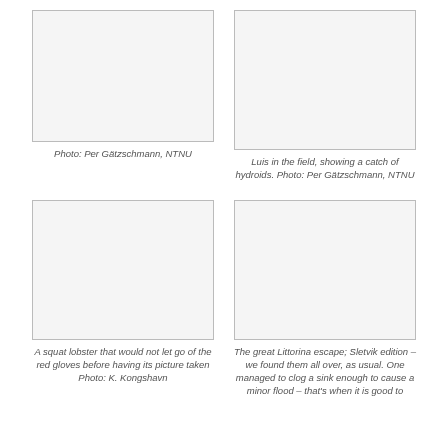[Figure (photo): Photo placeholder top left]
Photo: Per Gätzschmann, NTNU
[Figure (photo): Photo placeholder top right - Luis in the field]
Luis in the field, showing a catch of hydroids. Photo: Per Gätzschmann, NTNU
[Figure (photo): Photo placeholder bottom left - squat lobster]
A squat lobster that would not let go of the red gloves before having its picture taken Photo: K. Kongshavn
[Figure (photo): Photo placeholder bottom right - Littorina]
The great Littorina escape; Sletvik edition – we found them all over, as usual. One managed to clog a sink enough to cause a minor flood – that's when it is good to